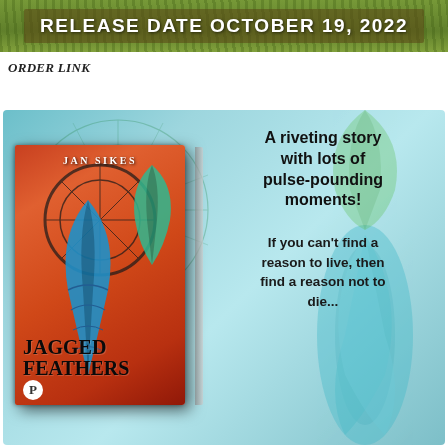[Figure (illustration): Green grass/nature banner background with bold white uppercase text: RELEASE DATE OCTOBER 19, 2022]
ORDER LINK
[Figure (photo): Book promotion image showing the book 'Jagged Feathers' by Jan Sikes on the left against a dreamcatcher/teal feather background, with promotional text on the right: 'A riveting story with lots of pulse-pounding moments! If you can't find a reason to live, then find a reason not to die...']